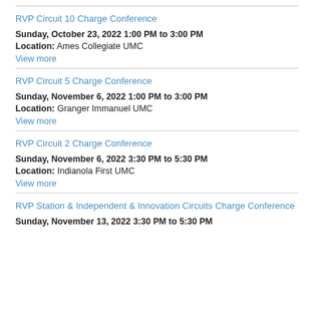RVP Circuit 10 Charge Conference
Sunday, October 23, 2022 1:00 PM to 3:00 PM
Location: Ames Collegiate UMC
View more
RVP Circuit 5 Charge Conference
Sunday, November 6, 2022 1:00 PM to 3:00 PM
Location: Granger Immanuel UMC
View more
RVP Circuit 2 Charge Conference
Sunday, November 6, 2022 3:30 PM to 5:30 PM
Location: Indianola First UMC
View more
RVP Station & Independent & Innovation Circuits Charge Conference
Sunday, November 13, 2022 3:30 PM to 5:30 PM